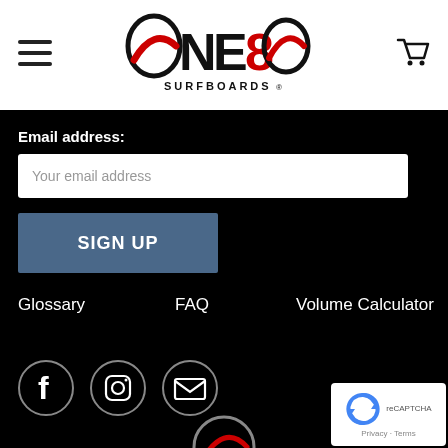[Figure (logo): ONE80 Surfboards logo in red and black with surfboard swoosh]
[Figure (other): Hamburger menu icon (three horizontal lines) on left]
[Figure (other): Shopping cart icon on right]
Email address:
Your email address
SIGN UP
Glossary
FAQ
Volume Calculator
[Figure (other): Social media icons: Facebook, Instagram, Email in circular outlines]
[Figure (other): reCAPTCHA badge with Privacy and Terms links]
[Figure (logo): ONE80 logo at bottom center, partially visible]